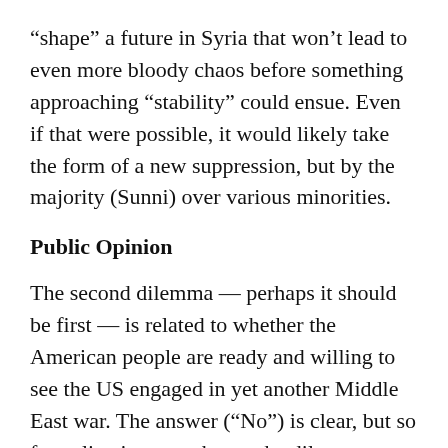“shape” a future in Syria that won’t lead to even more bloody chaos before something approaching “stability” could ensue. Even if that were possible, it would likely take the form of a new suppression, but by the majority (Sunni) over various minorities.
Public Opinion
The second dilemma — perhaps it should be first — is related to whether the American people are ready and willing to see the US engaged in yet another Middle East war. The answer (“No”) is clear, but so far policy is not — hence the dilemma.
There should be no indulgence in the nonsense that all could be accomplished by providing more lethal arms to the rebels, imposing a no-fly zone, or using air power directly. That would be relatively sterile into the military technology, but to a gift of a...